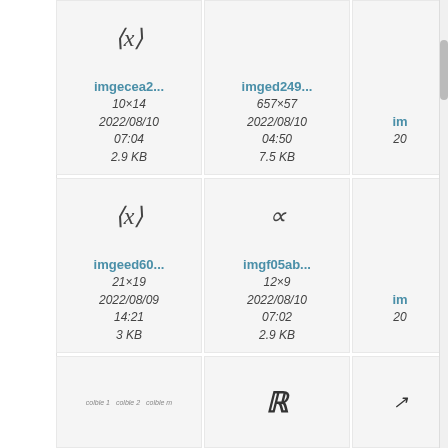[Figure (screenshot): File browser grid view showing math formula image thumbnails with filenames, dimensions, dates and sizes. Row 1: imgecea2... (10×14, 2022/08/10 07:04, 2.9 KB), imged249... (657×57, 2022/08/10 04:50, 7.5 KB), third partially visible. Row 2: imgeed60... (21×19, 2022/08/09 14:21, 3 KB), imgf05ab... (12×9, 2022/08/10 07:02, 2.9 KB), third partially visible. Row 3: partially visible row with table thumbnail, blackboard R symbol, and third partial.]